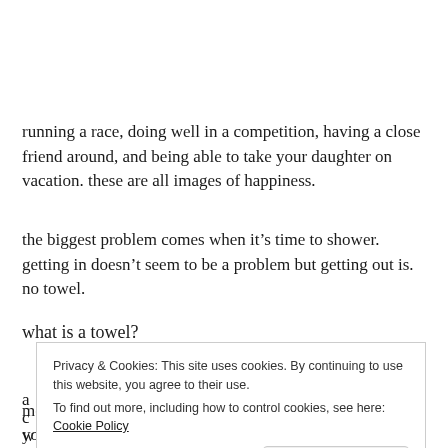running a race, doing well in a competition, having a close friend around, and being able to take your daughter on vacation. these are all images of happiness.
the biggest problem comes when it’s time to shower. getting in doesn’t seem to be a problem but getting out is. no towel.
what is a towel?
Privacy & Cookies: This site uses cookies. By continuing to use this website, you agree to their use.
To find out more, including how to control cookies, see here: Cookie Policy
most people would think of a towel as necessary. but for you